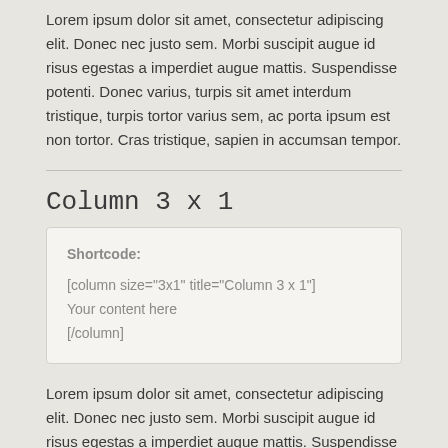Lorem ipsum dolor sit amet, consectetur adipiscing elit. Donec nec justo sem. Morbi suscipit augue id risus egestas a imperdiet augue mattis. Suspendisse potenti. Donec varius, turpis sit amet interdum tristique, turpis tortor varius sem, ac porta ipsum est non tortor. Cras tristique, sapien in accumsan tempor.
Column 3 x 1
Shortcode:
[column size="3x1" title="Column 3 x 1"]
Your content here
[/column]
Lorem ipsum dolor sit amet, consectetur adipiscing elit. Donec nec justo sem. Morbi suscipit augue id risus egestas a imperdiet augue mattis. Suspendisse potenti. Donec varius, turpis sit amet interdum tristique, turpis tortor varius sem, ac porta ipsum est non tortor. Cras tristique, sapien in accumsan tempor.